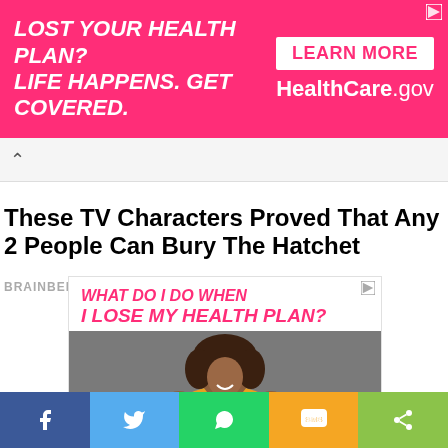[Figure (screenshot): Pink advertisement banner: 'LOST YOUR HEALTH PLAN? LIFE HAPPENS. GET COVERED.' with 'LEARN MORE HealthCare.gov' button on right]
These TV Characters Proved That Any 2 People Can Bury The Hatchet
BRAINBERRIES
[Figure (screenshot): Health insurance advertisement: 'WHAT DO I DO WHEN I LOSE MY HEALTH PLAN?' in pink italic text on white background, below is a photo of a smiling young woman with curly hair in a yellow shirt holding a skateboard]
[Figure (screenshot): Social share bar with Facebook, Twitter, WhatsApp, SMS, and Share buttons]